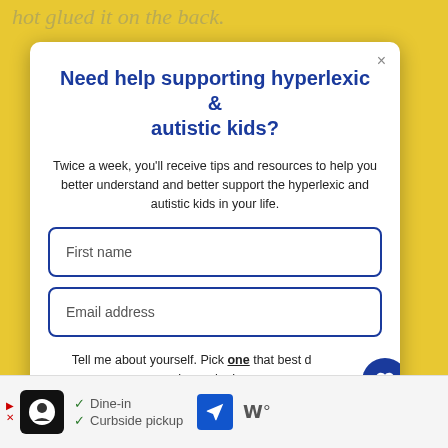hot glued it on the back.
Need help supporting hyperlexic & autistic kids?
Twice a week, you'll receive tips and resources to help you better understand and better support the hyperlexic and autistic kids in your life.
First name
Email address
Tell me about yourself. Pick one that best describes why you're here.
I'm a parent or grandparent